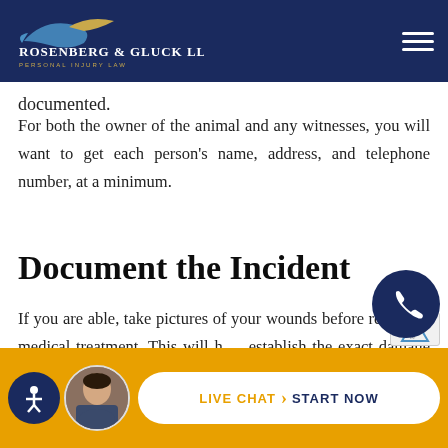Rosenberg & Gluck LLP — Personal Injury Law
documented.
For both the owner of the animal and any witnesses, you will want to get each person's name, address, and telephone number, at a minimum.
Document the Incident
If you are able, take pictures of your wounds before receiving medical treatment. This will help establish the exact damage done by the...